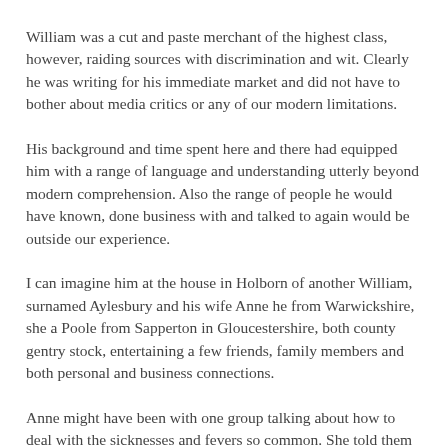William was a cut and paste merchant of the highest class, however, raiding sources with discrimination and wit. Clearly he was writing for his immediate market and did not have to bother about media critics or any of our modern limitations.
His background and time spent here and there had equipped him with a range of language and understanding utterly beyond modern comprehension. Also the range of people he would have known, done business with and talked to again would be outside our experience.
I can imagine him at the house in Holborn of another William, surnamed Aylesbury and his wife Anne he from Warwickshire, she a Poole from Sapperton in Gloucestershire, both county gentry stock, entertaining a few friends, family members and both personal and business connections.
Anne might have been with one group talking about how to deal with the sicknesses and fevers so common. She told them that from her garden she might take peaseblossom